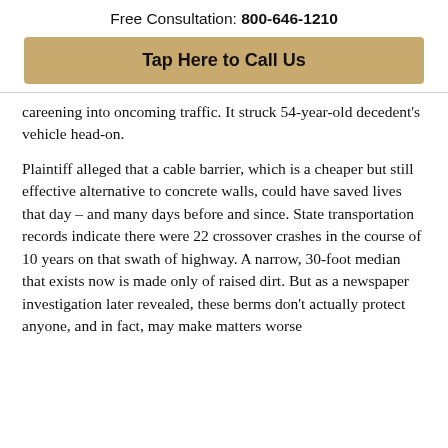Free Consultation: 800-646-1210
Tap Here to Call Us
careening into oncoming traffic. It struck 54-year-old decedent's vehicle head-on.
Plaintiff alleged that a cable barrier, which is a cheaper but still effective alternative to concrete walls, could have saved lives that day – and many days before and since. State transportation records indicate there were 22 crossover crashes in the course of 10 years on that swath of highway. A narrow, 30-foot median that exists now is made only of raised dirt. But as a newspaper investigation later revealed, these berms don't actually protect anyone, and in fact, may make matters worse